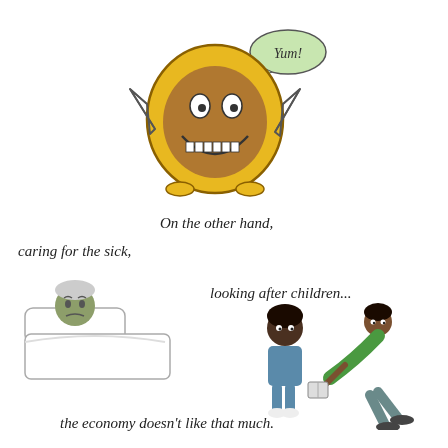[Figure (illustration): Cartoon coin character with a smiley face, arms and legs, saying 'Yum!' in a speech bubble]
On the other hand,
caring for the sick,
[Figure (illustration): Cartoon of an elderly person lying sick in bed]
looking after children...
[Figure (illustration): Cartoon of an adult bending down to hand a book to a child]
the economy doesn't like that much.